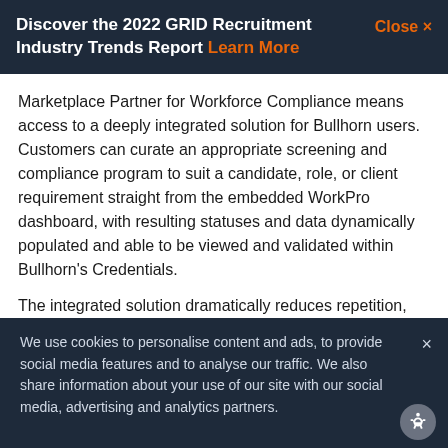Discover the 2022 GRID Recruitment Industry Trends Report Learn More  Close ×
Marketplace Partner for Workforce Compliance means access to a deeply integrated solution for Bullhorn users. Customers can curate an appropriate screening and compliance program to suit a candidate, role, or client requirement straight from the embedded WorkPro dashboard, with resulting statuses and data dynamically populated and able to be viewed and validated within Bullhorn's Credentials.
The integrated solution dramatically reduces repetition,
We use cookies to personalise content and ads, to provide social media features and to analyse our traffic. We also share information about your use of our site with our social media, advertising and analytics partners.